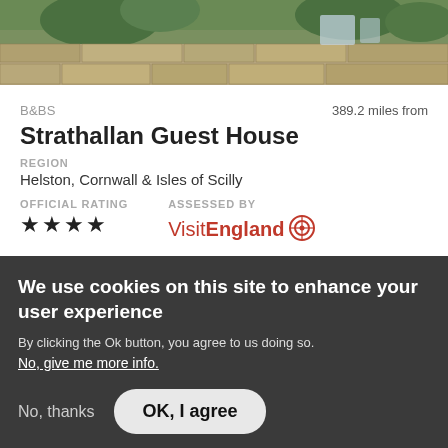[Figure (photo): Exterior photo of a stone wall building with green trees/vegetation visible above, dark roadway/driveway in the foreground]
B&BS	389.2 miles from
Strathallan Guest House
REGION
Helston, Cornwall & Isles of Scilly
OFFICIAL RATING	ASSESSED BY
★★★★	VisitEngland
We use cookies on this site to enhance your user experience
By clicking the Ok button, you agree to us doing so.
No, give me more info.
No, thanks	OK, I agree